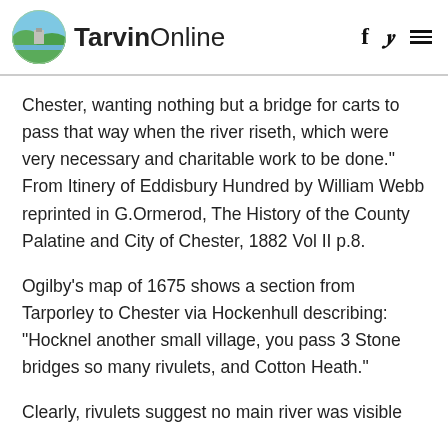TarvinOnline
Chester, wanting nothing but a bridge for carts to pass that way when the river riseth, which were very necessary and charitable work to be done." From Itinery of Eddisbury Hundred by William Webb reprinted in G.Ormerod, The History of the County Palatine and City of Chester, 1882 Vol II p.8.
Ogilby's map of 1675 shows a section from Tarporley to Chester via Hockenhull describing: "Hocknel another small village, you pass 3 Stone bridges so many rivulets, and Cotton Heath."
Clearly, rivulets suggest no main river was visible